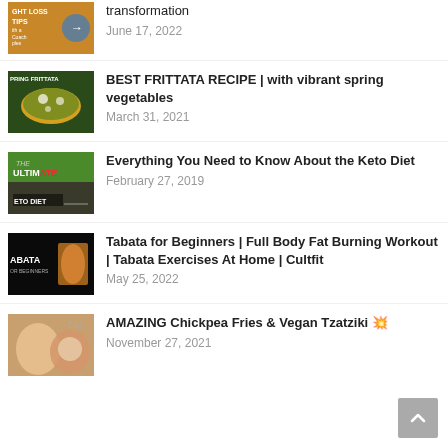transformation
June 17, 2022
BEST FRITTATA RECIPE | with vibrant spring vegetables
March 31, 2021
Everything You Need to Know About the Keto Diet
February 27, 2019
Tabata for Beginners | Full Body Fat Burning Workout | Tabata Exercises At Home | Cultfit
May 25, 2022
AMAZING Chickpea Fries & Vegan Tzatziki 💥
November 27, 2021